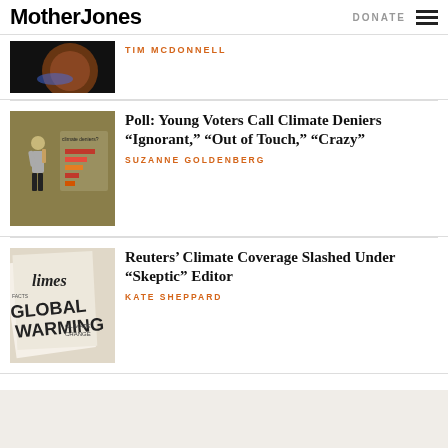Mother Jones | DONATE
[Figure (photo): Partial thumbnail of a dark space/planet image with orange glow]
TIM MCDONNELL
[Figure (illustration): Illustration of a person standing next to a horizontal bar chart about climate deniers]
Poll: Young Voters Call Climate Deniers “Ignorant,” “Out of Touch,” “Crazy”
SUZANNE GOLDENBERG
[Figure (photo): Newspaper with GLOBAL WARMING headline, Times newspaper visible]
Reuters’ Climate Coverage Slashed Under “Skeptic” Editor
KATE SHEPPARD